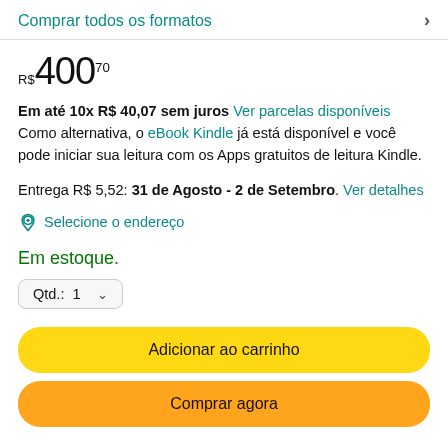Comprar todos os formatos
R$ 400,70
Em até 10x R$ 40,07 sem juros Ver parcelas disponíveis Como alternativa, o eBook Kindle já está disponível e você pode iniciar sua leitura com os Apps gratuitos de leitura Kindle.
Entrega R$ 5,52: 31 de Agosto - 2 de Setembro. Ver detalhes
Selecione o endereço
Em estoque.
Qtd.: 1
Adicionar ao carrinho
Comprar agora